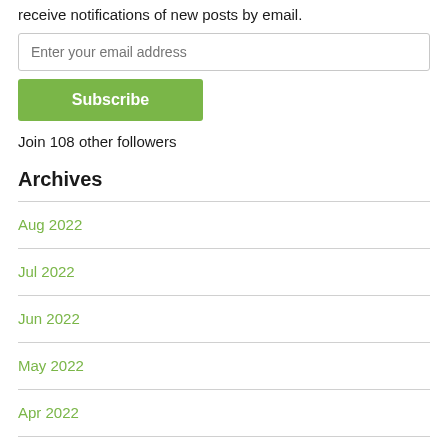receive notifications of new posts by email.
Enter your email address
Subscribe
Join 108 other followers
Archives
Aug 2022
Jul 2022
Jun 2022
May 2022
Apr 2022
Mar 2022